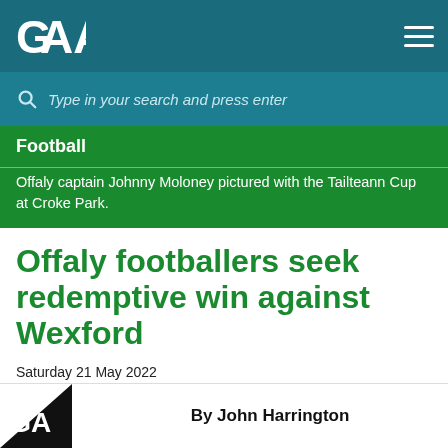[Figure (logo): GAA logo in white on teal navigation bar with hamburger menu icon]
Type in your search and press enter
Football
Offaly captain Johnny Moloney pictured with the Tailteann Cup at Croke Park.
Offaly footballers seek redemptive win against Wexford
Saturday 21 May 2022
By John Harrington